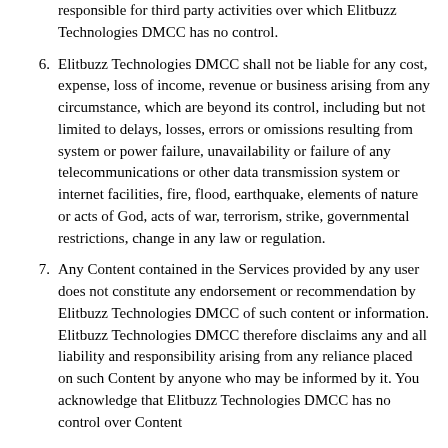responsible for third party activities over which Elitbuzz Technologies DMCC has no control.
6. Elitbuzz Technologies DMCC shall not be liable for any cost, expense, loss of income, revenue or business arising from any circumstance, which are beyond its control, including but not limited to delays, losses, errors or omissions resulting from system or power failure, unavailability or failure of any telecommunications or other data transmission system or internet facilities, fire, flood, earthquake, elements of nature or acts of God, acts of war, terrorism, strike, governmental restrictions, change in any law or regulation.
7. Any Content contained in the Services provided by any user does not constitute any endorsement or recommendation by Elitbuzz Technologies DMCC of such content or information. Elitbuzz Technologies DMCC therefore disclaims any and all liability and responsibility arising from any reliance placed on such Content by anyone who may be informed by it. You acknowledge that Elitbuzz Technologies DMCC has no control over Content